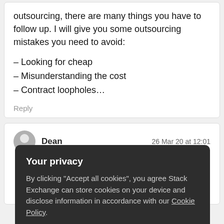outsourcing, there are many things you have to follow up. I will give you some outsourcing mistakes you need to avoid:
– Looking for cheap
– Misunderstanding the cost
– Contract loopholes…
Reply
Dean  26 Mar 20 at 12:01
arch
al
uild
Your privacy
By clicking "Accept all cookies", you agree Stack Exchange can store cookies on your device and disclose information in accordance with our Cookie Policy.
Accept all cookies
Customize settings